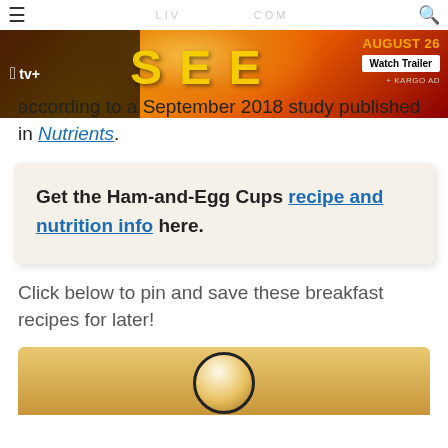[Figure (screenshot): Navigation bar with hamburger menu icon, site URL partially visible, and search icon]
[Figure (photo): Apple TV+ advertisement for the show SEE with AUGUST 26 premiere date and Watch Trailer button]
according to a September 2018 study published in Nutrients.
Get the Ham-and-Egg Cups recipe and nutrition info here.
Click below to pin and save these breakfast recipes for later!
[Figure (photo): Partial photo of a plate with breakfast food on a wooden surface, shown at bottom of page]